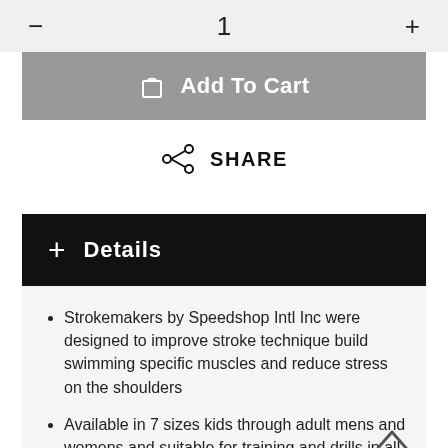— 1 +
Add To Cart
SHARE
+ Details
Strokemakers by Speedshop Intl Inc were designed to improve stroke technique build swimming specific muscles and reduce stress on the shoulders
Available in 7 sizes kids through adult mens and womens and suitable for training and drills in all competitive strokes as well as for swim-run competitions, physical therapy, synchro sculling drills, body surfing, and water aerobics